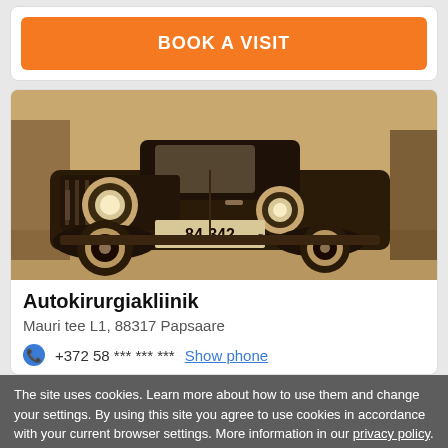[Figure (screenshot): Orange 'BOOK A VISIT' button]
[Figure (photo): Sepia vintage car photograph with license plate 84-342]
Autokirurgiakliinik
Mauri tee L1, 88317 Papsaare
+372 58 *** *** ***  Show phone
The site uses cookies. Learn more about how to use them and change your settings. By using this site you agree to use cookies in accordance with your current browser settings. More information in our privacy policy.
[Figure (screenshot): OK button with wrench icons on sides]